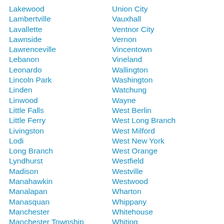Lakewood
Lambertville
Lavallette
Lawnside
Lawrenceville
Lebanon
Leonardo
Lincoln Park
Linden
Linwood
Little Falls
Little Ferry
Livingston
Lodi
Long Branch
Lyndhurst
Madison
Manahawkin
Manalapan
Manasquan
Manchester
Manchester Township
Mantua
Union City
Vauxhall
Ventnor City
Vernon
Vincentown
Vineland
Wallington
Washington
Watchung
Wayne
West Berlin
West Long Branch
West Milford
West New York
West Orange
Westfield
Westville
Westwood
Wharton
Whippany
Whitehouse
Whiting
Williamstown